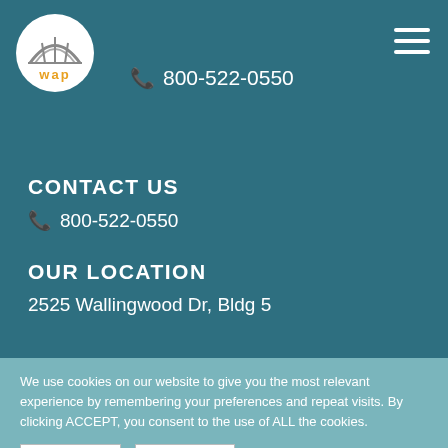[Figure (logo): WAP logo: circular white badge with arc design and orange 'wap' text]
800-522-0550
CONTACT US
800-522-0550
OUR LOCATION
2525 Wallingwood Dr, Bldg 5
We use cookies on our website to give you the most relevant experience by remembering your preferences and repeat visits. By clicking ACCEPT, you consent to the use of ALL the cookies.